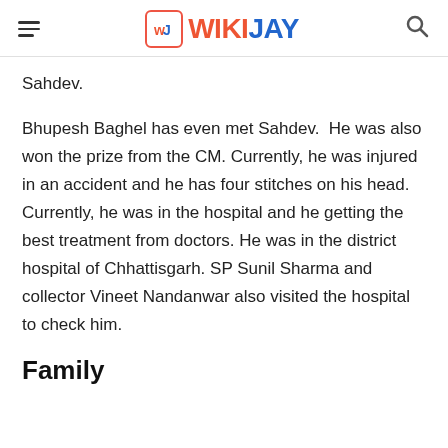WIKIJAY
Sahdev.
Bhupesh Baghel has even met Sahdev.  He was also won the prize from the CM. Currently, he was injured in an accident and he has four stitches on his head. Currently, he was in the hospital and he getting the best treatment from doctors. He was in the district hospital of Chhattisgarh. SP Sunil Sharma and collector Vineet Nandanwar also visited the hospital to check him.
Family